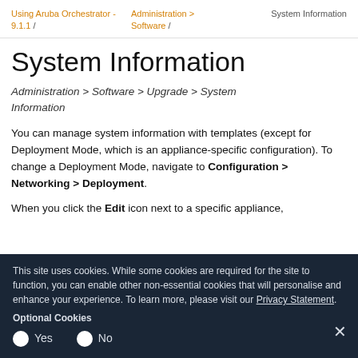Using Aruba Orchestrator - 9.1.1 /   Administration > Software /   System Information
System Information
Administration > Software > Upgrade > System Information
You can manage system information with templates (except for Deployment Mode, which is an appliance-specific configuration). To change a Deployment Mode, navigate to Configuration > Networking > Deployment.
When you click the Edit icon next to a specific appliance,
This site uses cookies. While some cookies are required for the site to function, you can enable other non-essential cookies that will personalise and enhance your experience. To learn more, please visit our Privacy Statement.
Optional Cookies
Yes   No